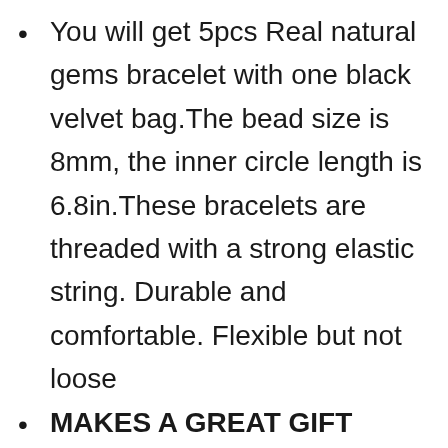You will get 5pcs Real natural gems bracelet with one black velvet bag.The bead size is 8mm, the inner circle length is 6.8in.These bracelets are threaded with a strong elastic string. Durable and comfortable. Flexible but not loose
MAKES A GREAT GIFT Every gemstone bracelet is packed in a black velvet pouch, this neutral but novelty packaging making the gemstone bracelet wonderful gifts for him/her on any special day.Tigerstar Store will offer you a